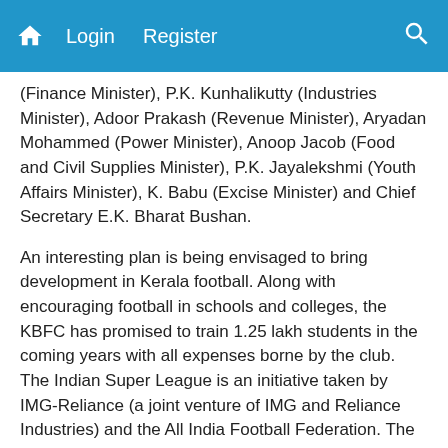Home  Login  Register  [Search]
(Finance Minister), P.K. Kunhalikutty (Industries Minister), Adoor Prakash (Revenue Minister), Aryadan Mohammed (Power Minister), Anoop Jacob (Food and Civil Supplies Minister), P.K. Jayalekshmi (Youth Affairs Minister), K. Babu (Excise Minister) and Chief Secretary E.K. Bharat Bushan.
An interesting plan is being envisaged to bring development in Kerala football. Along with encouraging football in schools and colleges, the KBFC has promised to train 1.25 lakh students in the coming years with all expenses borne by the club. The Indian Super League is an initiative taken by IMG-Reliance (a joint venture of IMG and Reliance Industries) and the All India Football Federation. The tournament which is planned to kick start in September 2014 would finish its first season in November.